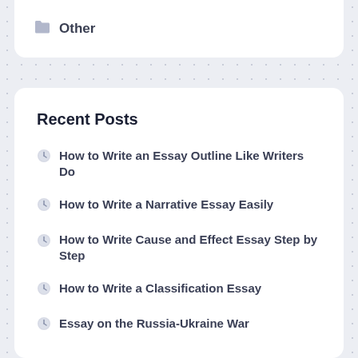Other
Recent Posts
How to Write an Essay Outline Like Writers Do
How to Write a Narrative Essay Easily
How to Write Cause and Effect Essay Step by Step
How to Write a Classification Essay
Essay on the Russia-Ukraine War